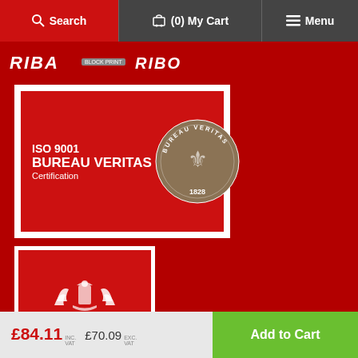Search | (0) My Cart | Menu
[Figure (logo): RIBA and Bureau Veritas ISO 9001 Certification logo banner on red background]
[Figure (logo): Prince's Trust - Proud to Support The Prince's Trust Youth Can Do It logo on red background]
Barriers Direct is a trading name of J9 Limited, a company registered in England and Wales.
Unit 18, New Horizon Business Centre, Barrows Rd, Harlow CM19 5FN
£84.11 INC. VAT  £70.09 EXC. VAT  Add to Cart